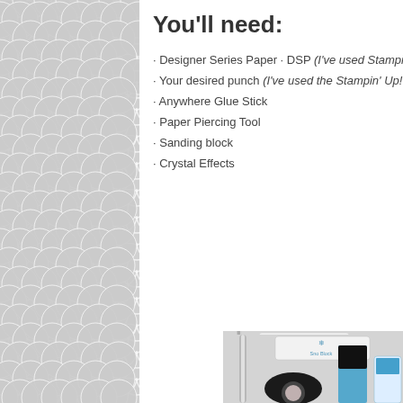You'll need:
· Designer Series Paper · DSP (I've used Stampin' Up! Desi…
· Your desired punch (I've used the Stampin' Up! 1/2" Circ…
· Anywhere Glue Stick
· Paper Piercing Tool
· Sanding block
· Crystal Effects
[Figure (photo): Craft supplies including a sanding block with snowflake design, a paper piercing tool, a circle punch, and blue glue/adhesive products arranged on a light gray surface]